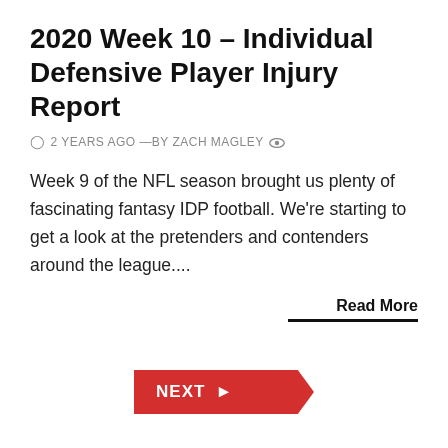2020 Week 10 – Individual Defensive Player Injury Report
2 YEARS AGO —BY ZACH MAGLEY
Week 9 of the NFL season brought us plenty of fascinating fantasy IDP football. We're starting to get a look at the pretenders and contenders around the league....
Read More
NEXT
Log In
Username or Email Address